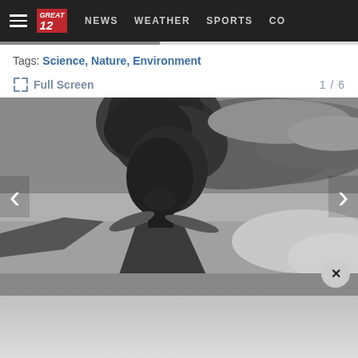NEWS   WEATHER   SPORTS   CO
Tags: Science, Nature, Environment
Full Screen   1 / 6
[Figure (photo): Black and white photograph of a large volcanic eruption, showing a massive ash plume rising from a volcano with billowing clouds of smoke spreading across the sky. Navigation arrows on left and right sides, close (x) button at bottom right.]